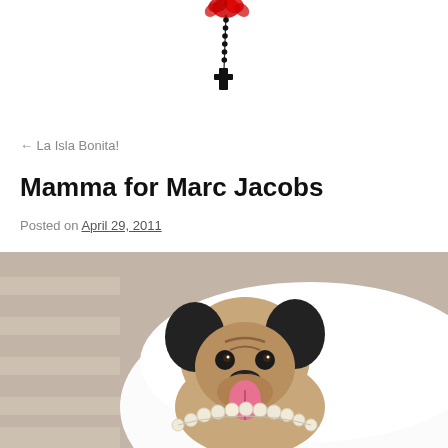[Figure (illustration): Rosary beads hanging with a cross, and red decorative element at top, partially cropped at top of page]
← La Isla Bonita!
Mamma for Marc Jacobs
Posted on April 29, 2011
[Figure (photo): A pug dog wearing a pearl necklace, sitting inside a large white bowl, sticking out its tongue. Striped background visible behind the bowl.]